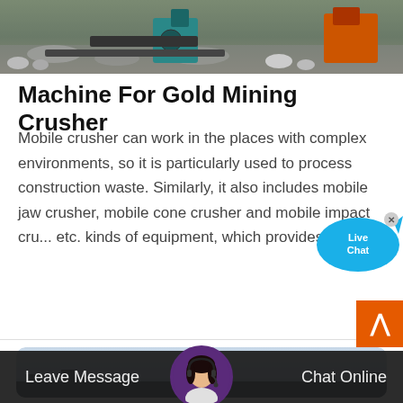[Figure (photo): Top banner photo showing mining/crusher equipment machinery with rocks, conveyor belts, and orange/teal machinery against a grey dusty background]
Machine For Gold Mining Crusher
Mobile crusher can work in the places with complex environments, so it is particularly used to process construction waste. Similarly, it also includes mobile jaw crusher, mobile cone crusher and mobile impact cru... etc. kinds of equipment, which provides many
[Figure (infographic): Live Chat speech bubble widget with teal/blue bubble shape, 'Live Chat' text inside in white/dark text, and an X close button in top right corner]
[Figure (photo): Bottom photo showing mining/industrial scene with light blue sky and dark machinery silhouettes, displayed in a rounded rectangle card]
[Figure (screenshot): Bottom navigation bar showing 'Leave Message' on left and 'Chat Online' on right in white text on dark background, with a circular avatar of a female customer service representative with headset in the center]